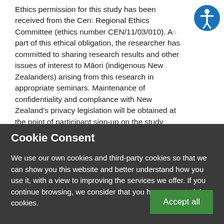Ethics permission for this study has been received from the Central Regional Ethics Committee (ethics number CEN/11/03/010). As part of this ethical obligation, the researcher has committed to sharing research results and other issues of interest to Māori (indigenous New Zealanders) arising from this research in appropriate seminars. Maintenance of confidentiality and compliance with New Zealand's privacy legislation will be obtained at the point of participant sign-up on the study website. Participation in the study is voluntary and participants will be free to withdraw at any time. Participants will be anonymous, signing into the website with a code name. Their password will be
Cookie Consent
We use our own cookies and third-party cookies so that we can show you this website and better understand how you use it, with a view to improving the services we offer. If you continue browsing, we consider that you have accepted the cookies.